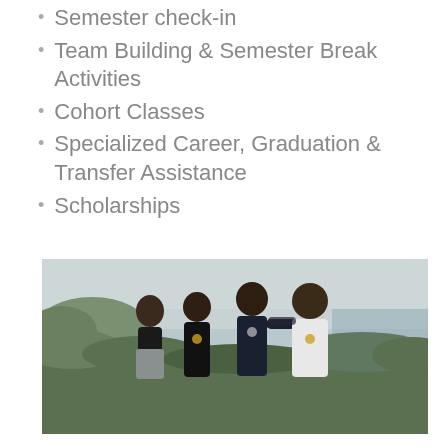Semester check-in
Team Building & Semester Break Activities
Cohort Classes
Specialized Career, Graduation & Transfer Assistance
Scholarships
[Figure (photo): Four young people standing outdoors in a natural setting with greenery and an overcast sky in the background, some wearing medals.]